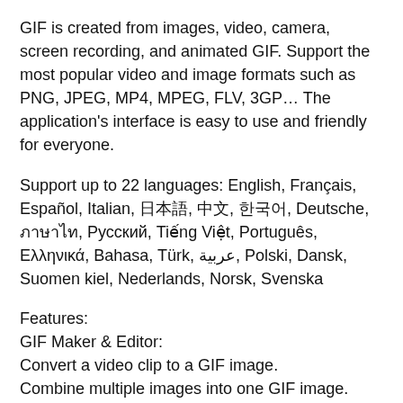GIF is created from images, video, camera, screen recording, and animated GIF. Support the most popular video and image formats such as PNG, JPEG, MP4, MPEG, FLV, 3GP… The application's interface is easy to use and friendly for everyone.
Support up to 22 languages: English, Français, Español, Italian, 日本語, 中文, 한국어, Deutsche, ภาษาไทย, Русский, Tiếng Việt, Português, Ελληνικά, Bahasa, Türk, العربية, Polski, Dansk, Suomen kiel, Nederlands, Norsk, Svenska
Features:
GIF Maker & Editor:
Convert a video clip to a GIF image.
Combine multiple images into one GIF image.
Take a video with your camera and convert it to a GIF image.
Record screen video and convert to GIF.
Create and edit your animated GIF easily, fast, smooth with a ton of features: crop, resize, speed, emoji, handwriting, filters, trim, sticker, undo, redo… Up to 600 images and 50 frames